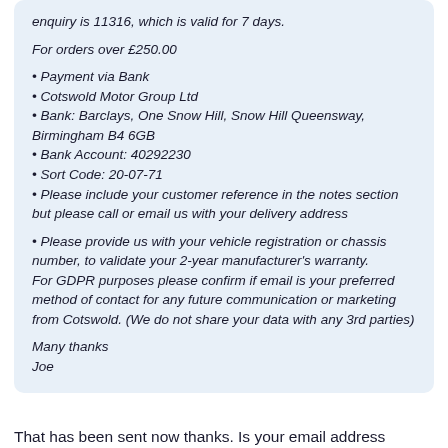enquiry is 11316, which is valid for 7 days.
For orders over £250.00
Payment via Bank
Cotswold Motor Group Ltd
Bank: Barclays, One Snow Hill, Snow Hill Queensway, Birmingham B4 6GB
Bank Account: 40292230
Sort Code: 20-07-71
Please include your customer reference in the notes section but please call or email us with your delivery address
Please provide us with your vehicle registration or chassis number, to validate your 2-year manufacturer's warranty.
For GDPR purposes please confirm if email is your preferred method of contact for any future communication or marketing from Cotswold. (We do not share your data with any 3rd parties)
Many thanks
Joe
That has been sent now thanks. Is your email address